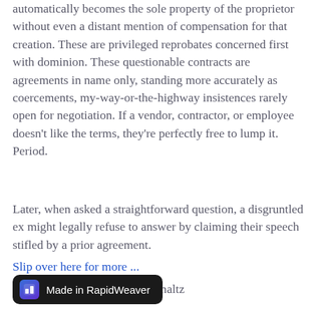automatically becomes the sole property of the proprietor without even a distant mention of compensation for that creation. These are privileged reprobates concerned first with dominion. These questionable contracts are agreements in name only, standing more accurately as coercements, my-way-or-the-highway insistences rarely open for negotiation. If a vendor, contractor, or employee doesn't like the terms, they're perfectly free to lump it. Period.
Later, when asked a straightforward question, a disgruntled ex might legally refuse to answer by claiming their speech stifled by a prior agreement.
Slip over here for more ...
Tags: #WhatNow? #PureSchmaltz